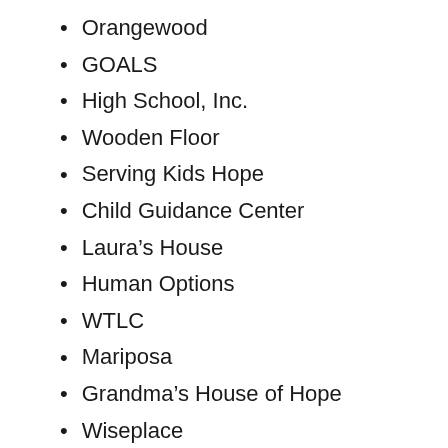Orangewood
GOALS
High School, Inc.
Wooden Floor
Serving Kids Hope
Child Guidance Center
Laura’s House
Human Options
WTLC
Mariposa
Grandma’s House of Hope
Wiseplace
Latino Health Access